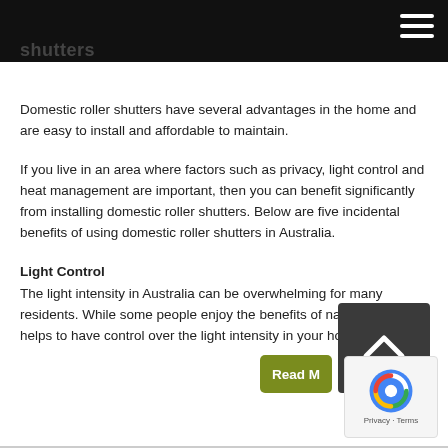shutters
Domestic roller shutters have several advantages in the home and are easy to install and affordable to maintain.
If you live in an area where factors such as privacy, light control and heat management are important, then you can benefit significantly from installing domestic roller shutters. Below are five incidental benefits of using domestic roller shutters in Australia.
Light Control
The light intensity in Australia can be overwhelming for many residents. While some people enjoy the benefits of natural lighting, it helps to have control over the light intensity in your home. You ...